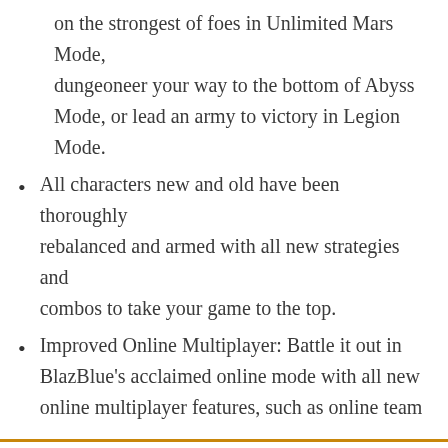on the strongest of foes in Unlimited Mars Mode, dungeoneer your way to the bottom of Abyss Mode, or lead an army to victory in Legion Mode.
All characters new and old have been thoroughly rebalanced and armed with all new strategies and combos to take your game to the top.
Improved Online Multiplayer: Battle it out in BlazBlue's acclaimed online mode with all new online multiplayer features, such as online team
or $34.95
hase 3 Chronopha